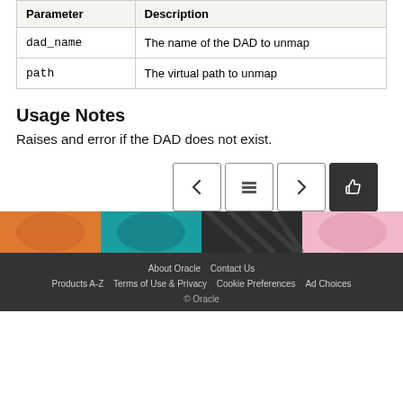| Parameter | Description |
| --- | --- |
| dad_name | The name of the DAD to unmap |
| path | The virtual path to unmap |
Usage Notes
Raises and error if the DAD does not exist.
[Figure (other): Navigation buttons: previous (left arrow), table of contents (grid icon), next (right arrow), and a thumbs-up feedback button]
[Figure (illustration): Decorative colorful strip with abstract shapes in orange, teal, dark, and pink]
About Oracle  Contact Us  Products A-Z  Terms of Use & Privacy  Cookie Preferences  Ad Choices  © Oracle